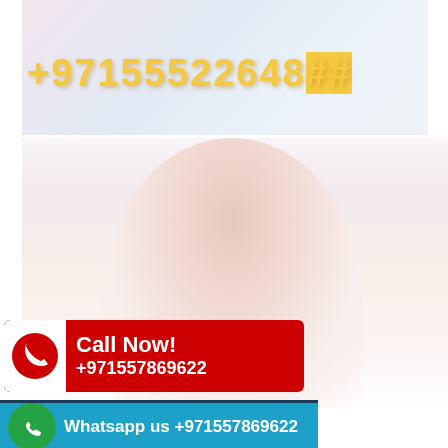[Figure (photo): Blurred/faded photo of a person, top portion, with phone number +971552264## overlaid in large yellow text]
[Figure (photo): Blurred/faded full-body photo of a woman with long dark hair wearing a pink top]
Call Now! +971557869622
Whatsapp us +971557869622